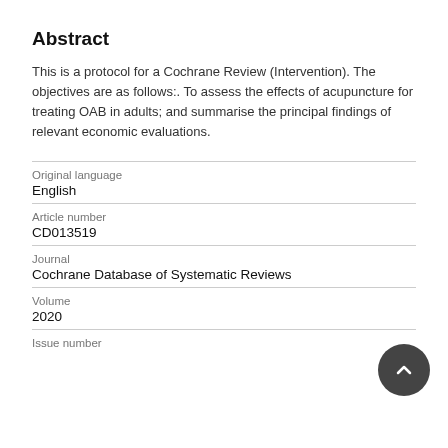Abstract
This is a protocol for a Cochrane Review (Intervention). The objectives are as follows:. To assess the effects of acupuncture for treating OAB in adults; and summarise the principal findings of relevant economic evaluations.
| Field | Value |
| --- | --- |
| Original language | English |
| Article number | CD013519 |
| Journal | Cochrane Database of Systematic Reviews |
| Volume | 2020 |
| Issue number |  |